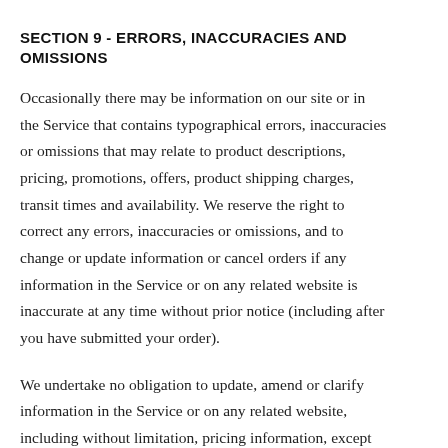SECTION 9 - ERRORS, INACCURACIES AND OMISSIONS
Occasionally there may be information on our site or in the Service that contains typographical errors, inaccuracies or omissions that may relate to product descriptions, pricing, promotions, offers, product shipping charges, transit times and availability. We reserve the right to correct any errors, inaccuracies or omissions, and to change or update information or cancel orders if any information in the Service or on any related website is inaccurate at any time without prior notice (including after you have submitted your order).
We undertake no obligation to update, amend or clarify information in the Service or on any related website, including without limitation, pricing information, except as required by law. No specified update or refresh date applied in the Service or on any related website, should be taken to